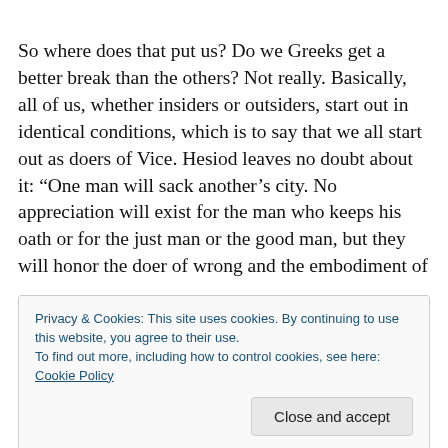So where does that put us? Do we Greeks get a better break than the others? Not really. Basically, all of us, whether insiders or outsiders, start out in identical conditions, which is to say that we all start out as doers of Vice. Hesiod leaves no doubt about it: “One man will sack another’s city. No appreciation will exist for the man who keeps his oath or for the just man or the good man, but they will honor the doer of wrong and the embodiment of
Privacy & Cookies: This site uses cookies. By continuing to use this website, you agree to their use.
To find out more, including how to control cookies, see here: Cookie Policy
hateful to look at. Then to Olympus away from wide-wayed